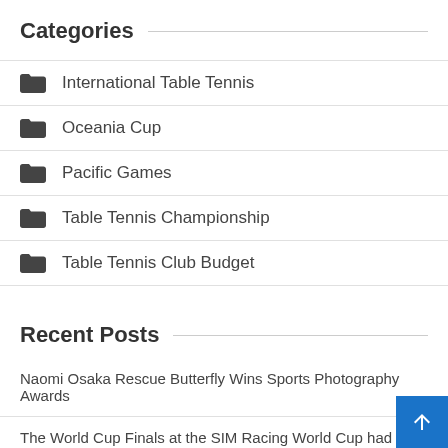Categories
International Table Tennis
Oceania Cup
Pacific Games
Table Tennis Championship
Table Tennis Club Budget
Recent Posts
Naomi Osaka Rescue Butterfly Wins Sports Photography Awards
The World Cup Finals at the SIM Racing World Cup had twenty2 entries qualifying results did not come from all qualifying